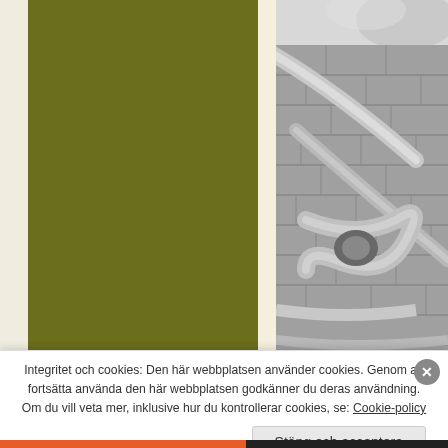[Figure (photo): Left olive/dark green textured panel filling the left portion of the page]
[Figure (photo): Black and white close-up photograph of stone carved relief or architectural detail, possibly Mesoamerican or ancient stone masonry with diagonal and curved elements]
Integritet och cookies: Den här webbplatsen använder cookies. Genom att fortsätta använda den här webbplatsen godkänner du deras användning. Om du vill veta mer, inklusive hur du kontrollerar cookies, se: Cookie-policy
Stäng och acceptera